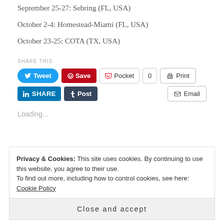September 25-27: Sebring (FL, USA)
October 2-4: Homestead-Miami (FL, USA)
October 23-25: COTA (TX, USA)
SHARE THIS:
[Figure (screenshot): Social sharing buttons: Tweet, Save, Pocket, 0, Print, SHARE, Post, Email]
Loading...
Privacy & Cookies: This site uses cookies. By continuing to use this website, you agree to their use. To find out more, including how to control cookies, see here: Cookie Policy
Close and accept